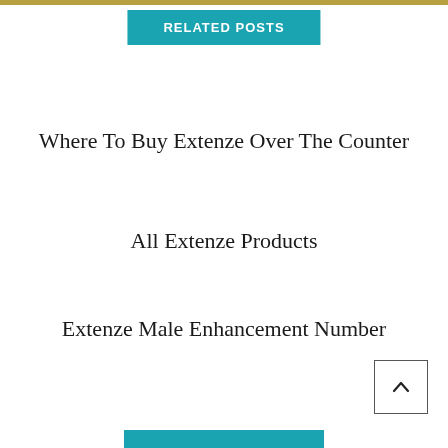RELATED POSTS
Where To Buy Extenze Over The Counter
All Extenze Products
Extenze Male Enhancement Number